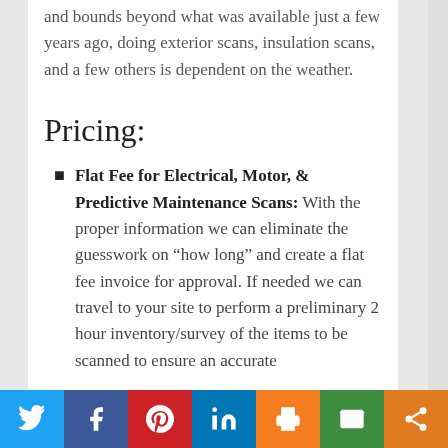and bounds beyond what was available just a few years ago, doing exterior scans, insulation scans, and a few others is dependent on the weather.
Pricing:
Flat Fee for Electrical, Motor, & Predictive Maintenance Scans: With the proper information we can eliminate the guesswork on "how long" and create a flat fee invoice for approval. If needed we can travel to your site to perform a preliminary 2 hour inventory/survey of the items to be scanned to ensure an accurate
Social share bar: Twitter, Facebook, Pinterest, LinkedIn, Print, Email, Share